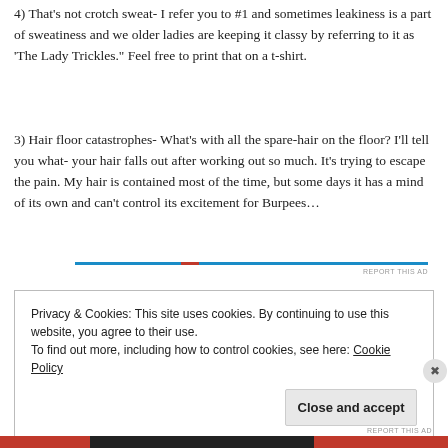4) That's not crotch sweat- I refer you to #1 and sometimes leakiness is a part of sweatiness and we older ladies are keeping it classy by referring to it as 'The Lady Trickles." Feel free to print that on a t-shirt.
3) Hair floor catastrophes- What's with all the spare-hair on the floor? I'll tell you what- your hair falls out after working out so much. It's trying to escape the pain. My hair is contained most of the time, but some days it has a mind of its own and can't control its excitement for Burpees...
Privacy & Cookies: This site uses cookies. By continuing to use this website, you agree to their use. To find out more, including how to control cookies, see here: Cookie Policy